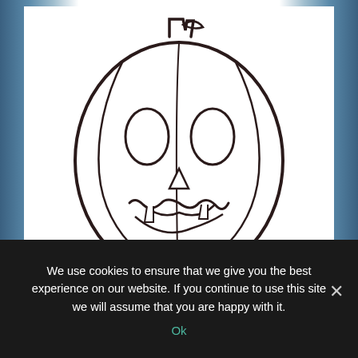[Figure (illustration): Line drawing of a jack-o-lantern pumpkin with carved face (oval eyes, triangular nose, jagged smile with teeth), with stem on top. Black outlines on white background.]
8 Cool De Image De Citrouille D Halloween A Imprimer Photos
We use cookies to ensure that we give you the best experience on our website. If you continue to use this site we will assume that you are happy with it.
Ok